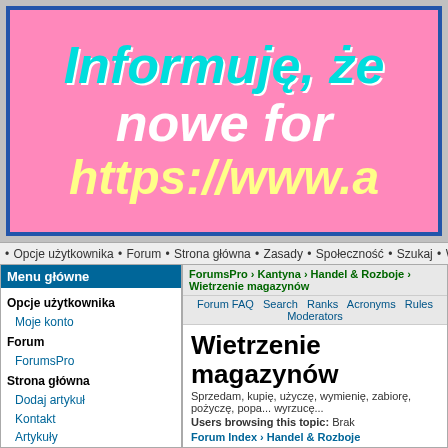[Figure (screenshot): Forum website banner with pink background, showing Polish text 'Informuję, że' in cyan italic, 'nowe for' in white italic, and 'https://www.a' in yellow italic, all cropped at right edge]
• Opcje użytkownika • Forum • Strona główna • Zasady • Społeczność • Szukaj • We
Menu główne
Opcje użytkownika
Moje konto
Forum
ForumsPro
Strona główna
Dodaj artykuł
Kontakt
Artykuły
Powiadom znajomych
Tematy
Archiwum artykułów
Zasady
Zasady Mordheim PL
Zasady Warheim FS
Społeczność
Groups
Szukaj
Szukaj
ForumsPro › Kantyna › Handel & Rozboje › Wietrzenie magazynów
Forum FAQ  Search  Ranks  Acronyms  Rules  Moderators
Wietrzenie magazynów
Sprzedam, kupię, użyczę, wymienię, zabiorę, pożyczę, popa... wyrzucę...
Users browsing this topic: Brak
Forum Index › Handel & Rozboje
< 1 2
View previous topic :: View next
| Author | Message |
| --- | --- |